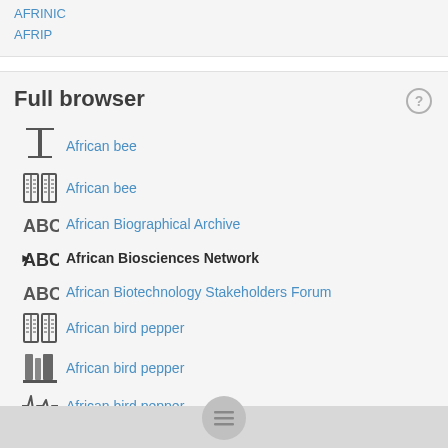AFRINIC
AFRIP
Full browser
African bee
African bee
African Biographical Archive
African Biosciences Network
African Biotechnology Stakeholders Forum
African bird pepper
African bird pepper
African bird pepper